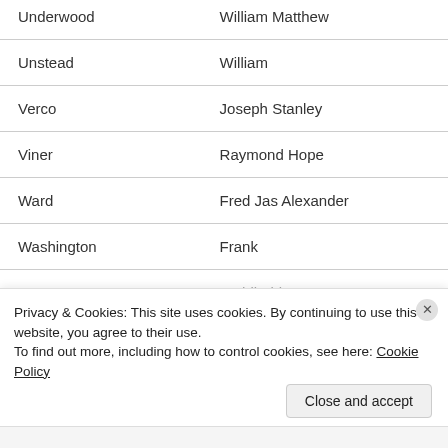| Last Name | First Name(s) |
| --- | --- |
| Underwood | William Matthew |
| Unstead | William |
| Verco | Joseph Stanley |
| Viner | Raymond Hope |
| Ward | Fred Jas Alexander |
| Washington | Frank |
| Watson | Archibald |
Privacy & Cookies: This site uses cookies. By continuing to use this website, you agree to their use.
To find out more, including how to control cookies, see here: Cookie Policy